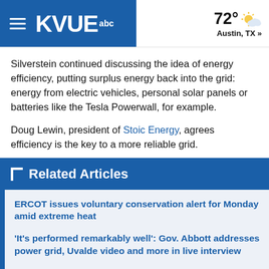KVUE abc — 72° Austin, TX »
Silverstein continued discussing the idea of energy efficiency, putting surplus energy back into the grid: energy from electric vehicles, personal solar panels or batteries like the Tesla Powerwall, for example.
Doug Lewin, president of Stoic Energy, agrees efficiency is the key to a more reliable grid.
Related Articles
ERCOT issues voluntary conservation alert for Monday amid extreme heat
'It's performed remarkably well': Gov. Abbott addresses power grid, Uvalde video and more in live interview
Texas power demand breaks record for second time